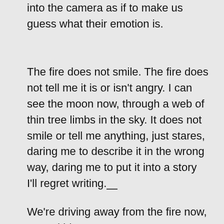into the camera as if to make us guess what their emotion is.
The fire does not smile. The fire does not tell me it is or isn't angry. I can see the moon now, through a web of thin tree limbs in the sky. It does not smile or tell me anything, just stares, daring me to describe it in the wrong way, daring me to put it into a story I'll regret writing.
—
We're driving away from the fire now, toward his